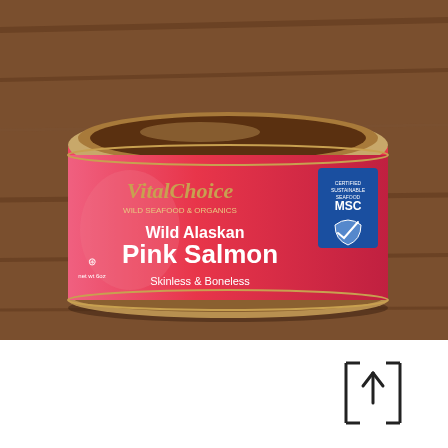[Figure (photo): A can of Vital Choice Wild Alaskan Pink Salmon (Skinless & Boneless) with a pink label and MSC certified sustainable seafood badge, sitting on a wooden surface.]
[Figure (other): An upload/share icon: a square bracket frame with an upward arrow, indicating an upload or share action.]